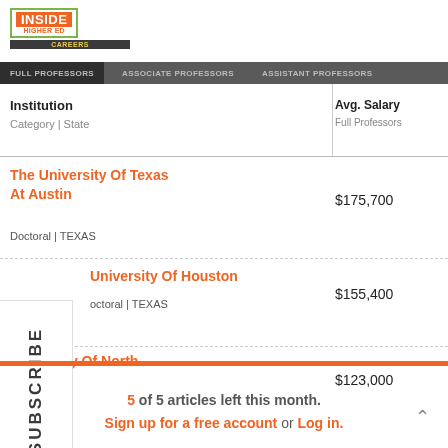[Figure (logo): Inside Higher Ed logo with green border, orange background, and Careers navigation bar]
| Institution
Category | State | Avg. Salary
Full Professors | Avg. Change
Full Professors |
| --- | --- | --- |
| The University Of Texas At Austin
Doctoral | TEXAS | $175,700 | 5.1% |
| University Of Houston
Doctoral | TEXAS | $155,400 | 4.7% |
| University Of North Texas | $123,000 | 4.6% |
5 of 5 articles left this month.
Sign up for a free account or Log in.